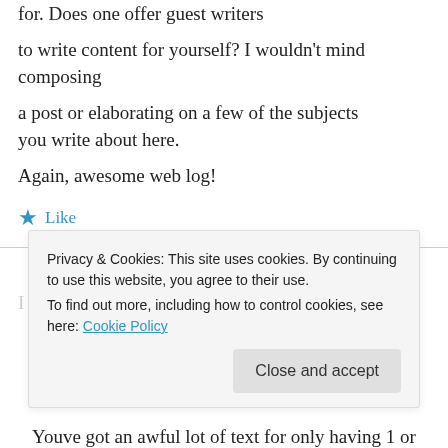for. Does one offer guest writers to write content for yourself? I wouldn't mind composing a post or elaborating on a few of the subjects you write about here. Again, awesome web log!
★ Like
weed growing guide on April 5, 2014 at 5:20 am
Privacy & Cookies: This site uses cookies. By continuing to use this website, you agree to their use. To find out more, including how to control cookies, see here: Cookie Policy
Close and accept
Youve got an awful lot of text for only having 1 or